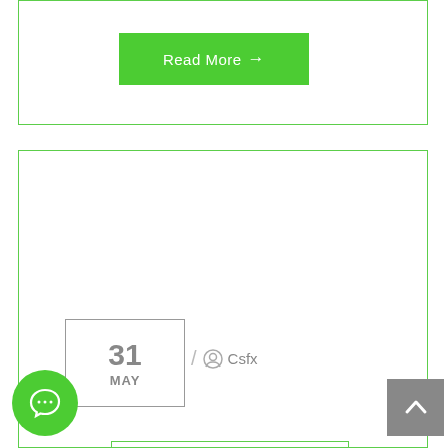[Figure (other): Green 'Read More →' button inside a card with green border]
31 MAY / Csfx
NORWAY'S WEALTH FUND UNLIKELY TO REPRODUCE
[Figure (other): Green circular chat/comment button at bottom left]
[Figure (other): Gray scroll-to-top button at bottom right]